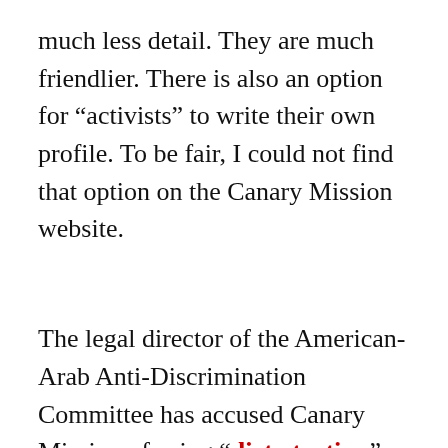much less detail. They are much friendlier. There is also an option for “activists” to write their own profile. To be fair, I could not find that option on the Canary Mission website.
The legal director of the American-Arab Anti-Discrimination Committee has accused Canary Mission of using “dirty tactics.”
Blowback from groups like the Middle East Studies Association and these other Israel hating websites are predictable. The fact that these sites